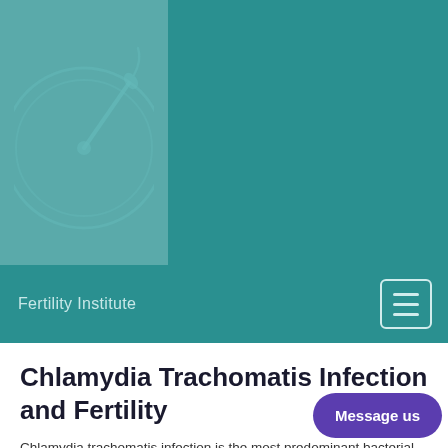[Figure (logo): Fertility Institute logo: a circular speedometer/gauge icon with a needle, teal color scheme, within a lighter teal box in the header]
Fertility Institute
Chlamydia Trachomatis Infection and Fertility
Chlamydia trachomatis infection is the most predominant bacterial sexually transmitted infection (STI).  It can affect both men and women.  If not detected and treated in a timely manner, chlamydia can cause future fertility issues; however, many women and men who have had this infection will not have any problems with fertility in the future. The bacteria are transmitted through sexual contact with an infected partner.  The infection can also spread from an untreated mother to her baby during delivery.  In 2018, the United States reported to the